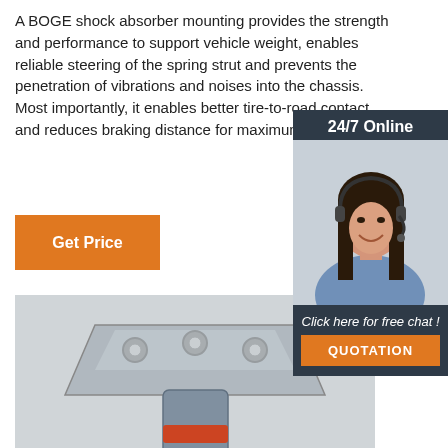A BOGE shock absorber mounting provides the strength and performance to support vehicle weight, enables reliable steering of the spring strut and prevents the penetration of vibrations and noises into the chassis. Most importantly, it enables better tire-to-road contact and reduces braking distance for maximum safety.
[Figure (other): Orange 'Get Price' button]
[Figure (other): Sidebar widget with '24/7 Online' header, customer service representative photo (woman with headset, smiling), 'Click here for free chat!' text, and orange QUOTATION button on dark navy background]
[Figure (photo): Photo of a BOGE shock absorber mounting — metal bracket/strut mount component, partially visible at bottom of page on light grey background]